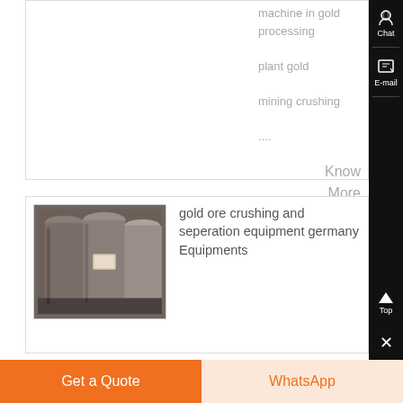machine in gold processing plant gold mining crushing ....
Know More
[Figure (photo): Industrial gold ore crushing and separation equipment — large cylindrical machines in a facility]
gold ore crushing and seperation equipment germany Equipments
Get a Quote
WhatsApp